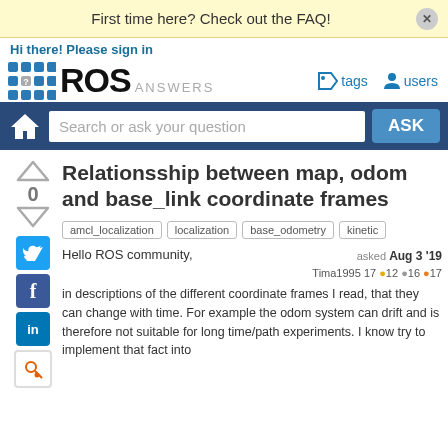First time here? Check out the FAQ!
Hi there! Please sign in
[Figure (logo): ROS Answers logo with dot grid and navigation tags/users]
[Figure (screenshot): Search bar with home icon, search input and ASK button]
Relationsship between map, odom and base_link coordinate frames
amcl_localization
localization
base_odometry
kinetic
Hello ROS community,
asked Aug 3 '19
Tima1995 17 ●12 ●16 ●17
in descriptions of the different coordinate frames I read, that they can change with time. For example the odom system can drift and is therefore not suitable for long time/path experiments. I know try to implement that fact into